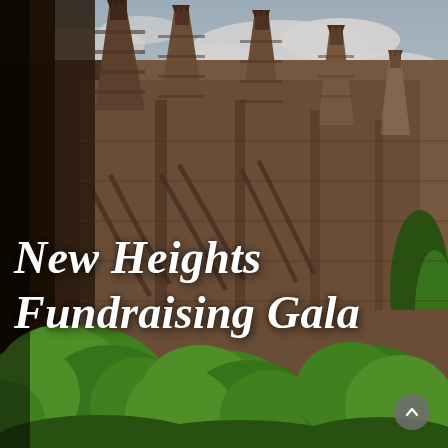[Figure (photo): Photograph of Gothic or neo-Gothic stone architecture — tall pointed spires and flying buttresses of a large stone church or cathedral, with lush green trees and shrubs in the foreground and a partly cloudy sky above.]
New Heights Fundraising Gala